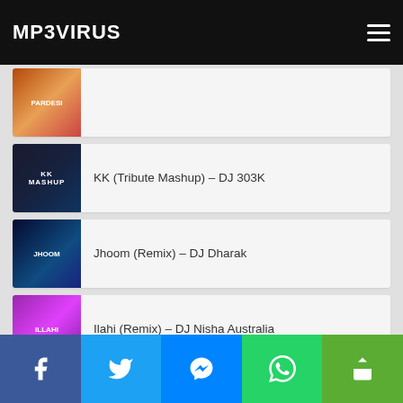MP3VIRUS
KK (Tribute Mashup) – DJ 303K
Jhoom (Remix) – DJ Dharak
Ilahi (Remix) – DJ Nisha Australia
Ho Jaata Hai Kaise Pyar (Remix) – DJ Akhil Talreja x DJ MHD
Facebook | Twitter | Messenger | WhatsApp | Share